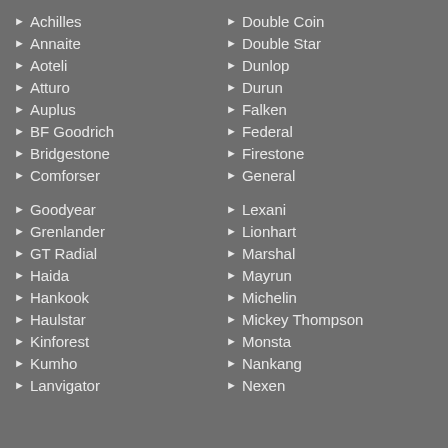Achilles
Annaite
Aoteli
Atturo
Auplus
BF Goodrich
Bridgestone
Comforser
Goodyear
Grenlander
GT Radial
Haida
Hankook
Haulstar
Kinforest
Kumho
Lanvigator
Double Coin
Double Star
Dunlop
Durun
Falken
Federal
Firestone
General
Lexani
Lionhart
Marshal
Mayrun
Michelin
Mickey Thompson
Monsta
Nankang
Nexen